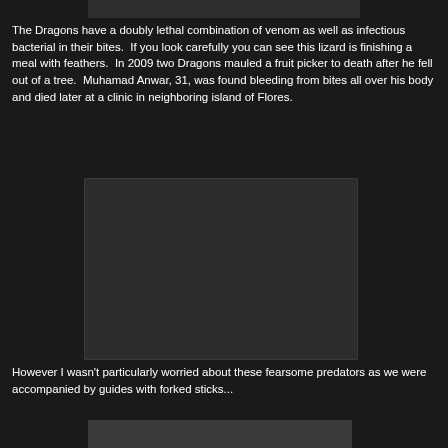[Figure (photo): Partial photo of a Komodo dragon, cropped at top of page]
The Dragons have a doubly lethal combination of venom as well as infectious bacterial in their bites.  If you look carefully you can see this lizard is finishing a meal with feathers.  In 2009 two Dragons mauled a fruit picker to death after he fell out of a tree.  Muhamad Anwar, 31, was found bleeding from bites all over his body and died later at a clinic in neighboring island of Flores.
[Figure (photo): Dark/dim photo of a Komodo dragon, mostly in shadow]
However I wasn't particularly worried about these fearsome predators as we were accompanied by guides with forked sticks...
[Figure (photo): Partial photo visible at bottom of page, showing natural scenery]